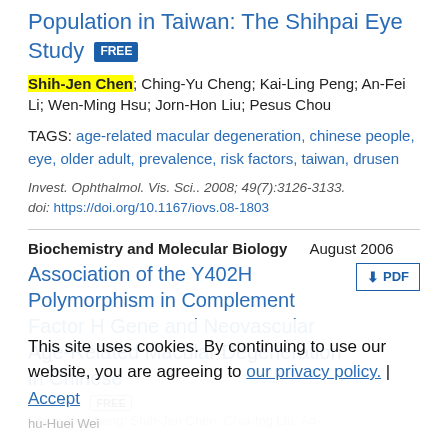Population in Taiwan: The Shihpai Eye Study FREE
Shih-Jen Chen; Ching-Yu Cheng; Kai-Ling Peng; An-Fei Li; Wen-Ming Hsu; Jorn-Hon Liu; Pesus Chou
TAGS: age-related macular degeneration, chinese people, eye, older adult, prevalence, risk factors, taiwan, drusen
Invest. Ophthalmol. Vis. Sci.. 2008; 49(7):3126-3133. doi: https://doi.org/10.1167/iovs.08-1803
Biochemistry and Molecular Biology   August 2006
Association of the Y402H Polymorphism in Complement Factor H Gene and Neovascular Age-Related Macular Degeneration in Chinese Patients FREE
This site uses cookies. By continuing to use our website, you are agreeing to our privacy policy. Accept